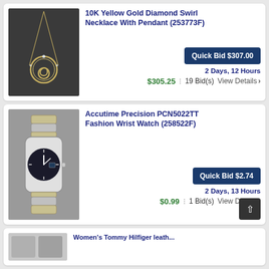[Figure (photo): Photo of a 10K Yellow Gold Diamond Swirl Necklace with pendant on dark background]
10K Yellow Gold Diamond Swirl Necklace With Pendant (253773F)
Quick Bid $307.00
2 Days, 12 Hours
$305.25 : 19 Bid(s) View Details ❯
[Figure (photo): Photo of an Accutime Precision PCN5022TT Fashion Wrist Watch with two-tone bracelet on gray background]
Accutime Precision PCN5022TT Fashion Wrist Watch (258522F)
Quick Bid $2.74
2 Days, 13 Hours
$0.99 : 1 Bid(s) View Details ❯
[Figure (photo): Partial photo of a third listing item (partially visible at bottom)]